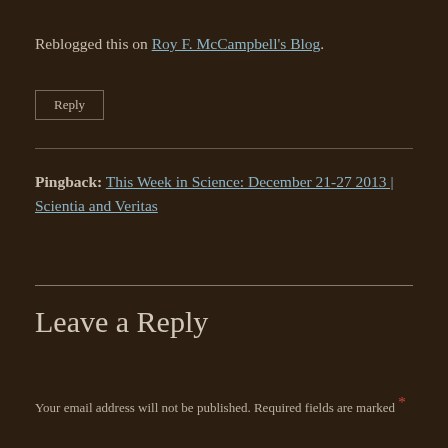Reblogged this on Roy F. McCampbell's Blog.
Reply
Pingback: This Week in Science: December 21-27 2013 | Scientia and Veritas
Leave a Reply
Your email address will not be published. Required fields are marked *